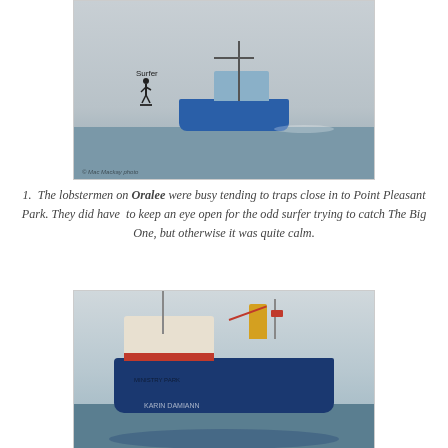[Figure (photo): A blue lobster fishing boat named Oralee on grey misty water near Point Pleasant Park, with a surfer visible in the background. Photo credit: © Mac Mackay photo]
1.  The lobstermen on Oralee were busy tending to traps close in to Point Pleasant Park. They did have  to keep an eye open for the odd surfer trying to catch The Big One, but otherwise it was quite calm.
[Figure (photo): A large blue cargo/tanker ship with a yellow funnel in a harbour, reflected in calm grey water.]